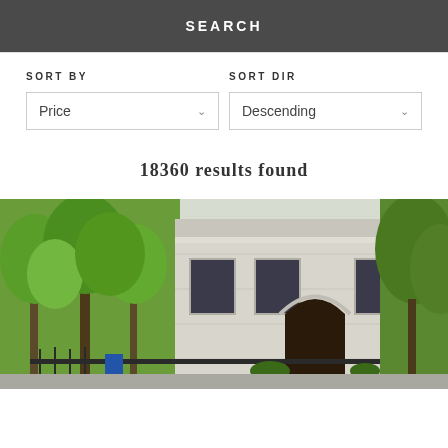SEARCH
SORT BY
SORT DIR
Price
Descending
18360 results found
[Figure (photo): Exterior photo of a luxury white stone neoclassical townhouse or mansion with arched entrance doorway, iron fence, and green trees in foreground]